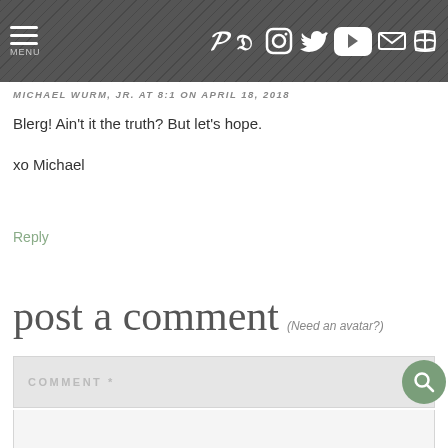MENU | Pinterest Facebook Instagram Twitter YouTube Email RSS
MICHAEL WURM, JR. AT 8:1 ON APRIL 18, 2018
Blerg! Ain't it the truth? But let's hope.

xo Michael
Reply
post a comment (Need an avatar?)
COMMENT *